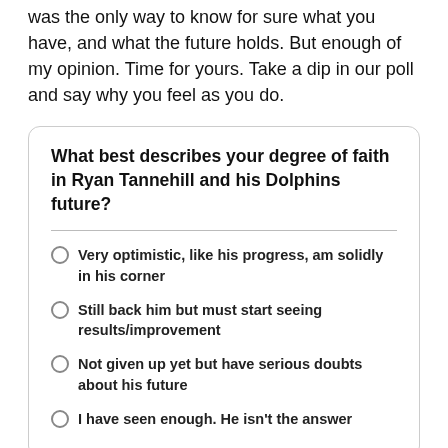was the only way to know for sure what you have, and what the future holds. But enough of my opinion. Time for yours. Take a dip in our poll and say why you feel as you do.
What best describes your degree of faith in Ryan Tannehill and his Dolphins future?
Very optimistic, like his progress, am solidly in his corner
Still back him but must start seeing results/improvement
Not given up yet but have serious doubts about his future
I have seen enough. He isn't the answer